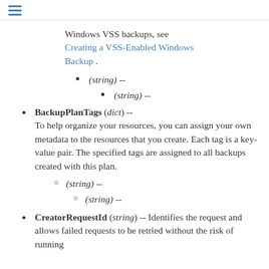Windows VSS backups, see Creating a VSS-Enabled Windows Backup .
(string) --
(string) --
BackupPlanTags (dict) -- To help organize your resources, you can assign your own metadata to the resources that you create. Each tag is a key-value pair. The specified tags are assigned to all backups created with this plan.
(string) --
(string) --
CreatorRequestId (string) -- Identifies the request and allows failed requests to be retried without the risk of running